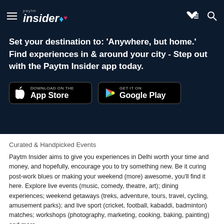Paytm Insider
Set your destination to: 'Anywhere, but home.' Find experiences in & around your city - Step out with the Paytm Insider app today.
[Figure (screenshot): Download on the App Store and GET IT ON Google Play buttons]
Curated & Handpicked Events
Paytm Insider aims to give you experiences in Delhi worth your time and money, and hopefully, encourage you to try something new. Be it curing post-work blues or making your weekend (more) awesome, you'll find it here. Explore live events (music, comedy, theatre, art); dining experiences; weekend getaways (treks, adventure, tours, travel, cycling, amusement parks); and live sport (cricket, football, kabaddi, badminton) matches; workshops (photography, marketing, cooking, baking, painting) and more.
Music Events, Gigs & Festivals